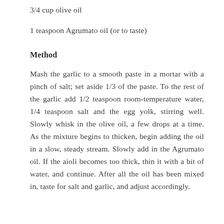3/4 cup olive oil
1 teaspoon Agrumato oil (or to taste)
Method
Mash the garlic to a smooth paste in a mortar with a pinch of salt; set aside 1/3 of the paste. To the rest of the garlic add 1/2 teaspoon room-temperature water, 1/4 teaspoon salt and the egg yolk, stirring well. Slowly whisk in the olive oil, a few drops at a time. As the mixture begins to thicken, begin adding the oil in a slow, steady stream. Slowly add in the Agrumato oil. If the aioli becomes too thick, thin it with a bit of water, and continue. After all the oil has been mixed in, taste for salt and garlic, and adjust accordingly.